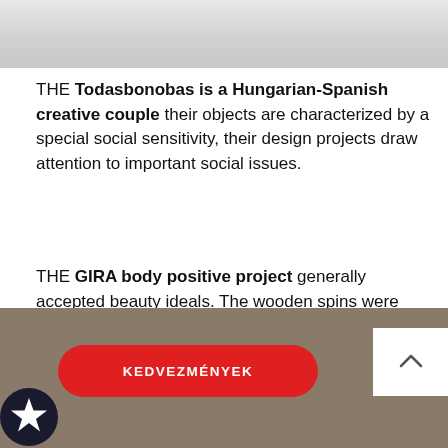[Figure (photo): Top portion of a photo, light grey surface visible]
THE Todasbonobas is a Hungarian-Spanish creative couple their objects are characterized by a special social sensitivity, their design projects draw attention to important social issues.
THE GIRA body positive project generally accepted beauty ideals. The wooden spins were created in honor of the female body. Their visual approach seeks to draw attention to the acceptance of the human body in its diversity because each body is different and unique. Perfectly perfect!
[Figure (photo): Bottom portion showing a brownish-grey background with a red button labeled KEDVEZMÉNYEK and a white scroll-up button in the top right corner]